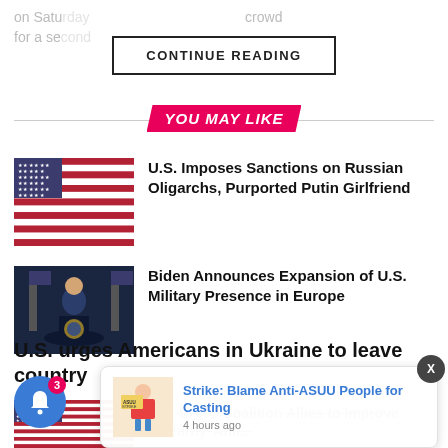on Satu... crowd for a se...
CONTINUE READING
YOU MAY LIKE
[Figure (photo): US flag]
U.S. Imposes Sanctions on Russian Oligarchs, Purported Putin Girlfriend
[Figure (photo): Biden speaking at podium]
Biden Announces Expansion of U.S. Military Presence in Europe
U.S. urges Americans in Ukraine to leave country
[Figure (photo): US flag thumbnail]
U.S. Urges Coalition Allies to Improve 'Security' Anti...
[Figure (illustration): ASUU Strike cartoon illustration]
Strike: Blame Anti-ASUU People for Casting
4 hours ago